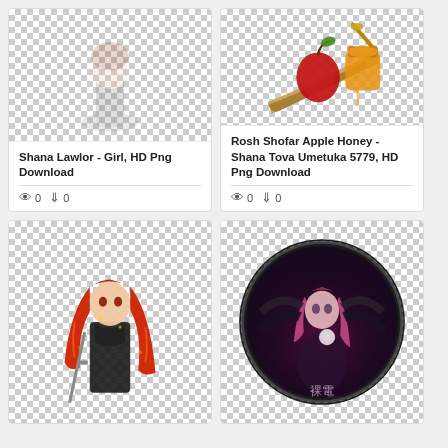[Figure (illustration): Anime girl character Shana Lawlor on transparent checkered background, mostly empty checkered pattern visible]
Shana Lawlor - Girl, HD Png Download
0   0
[Figure (photo): Rosh Hashanah items: red apple, jar of honey, shofar horn, and honey dipper on transparent checkered background]
Rosh Shofar Apple Honey - Shana Tova Umetuka 5779, HD Png Download
0   0
[Figure (illustration): Anime girl character with long red hair wearing black outfit, holding a sword, on transparent checkered background]
[Figure (illustration): Circular badge/icon with anime girl character with pink hair on dark fantasy background]